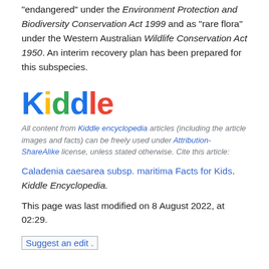"endangered" under the Environment Protection and Biodiversity Conservation Act 1999 and as "rare flora" under the Western Australian Wildlife Conservation Act 1950. An interim recovery plan has been prepared for this subspecies.
[Figure (logo): Kiddle colorful logo with letters K(blue) i(yellow) d(green) d(blue) l(red) e(red)]
All content from Kiddle encyclopedia articles (including the article images and facts) can be freely used under Attribution-ShareAlike license, unless stated otherwise. Cite this article:
Caladenia caesarea subsp. maritima Facts for Kids. Kiddle Encyclopedia.
This page was last modified on 8 August 2022, at 02:29.
Suggest an edit .